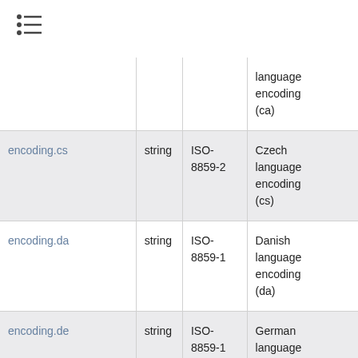≡ (list icon)
|  |  |  |  |
| --- | --- | --- | --- |
|  |  |  | language encoding (ca) |
| encoding.cs | string | ISO-8859-2 | Czech language encoding (cs) |
| encoding.da | string | ISO-8859-1 | Danish language encoding (da) |
| encoding.de | string | ISO-8859-1 | German language encoding |